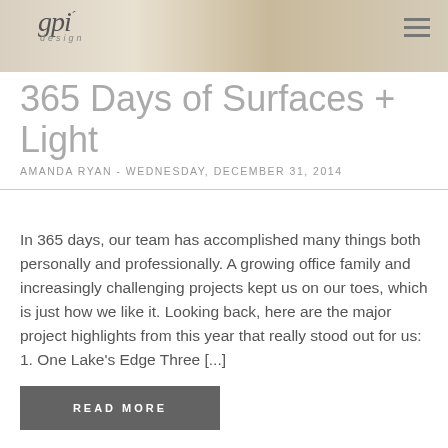[Figure (photo): Header banner with faded vintage photograph background, gpi design logo on the left, and hamburger menu icon on the right]
365 Days of Surfaces + Light
AMANDA RYAN - WEDNESDAY, DECEMBER 31, 2014
In 365 days, our team has accomplished many things both personally and professionally. A growing office family and increasingly challenging projects kept us on our toes, which is just how we like it. Looking back, here are the major project highlights from this year that really stood out for us: 1. One Lake's Edge Three [...]
READ MORE